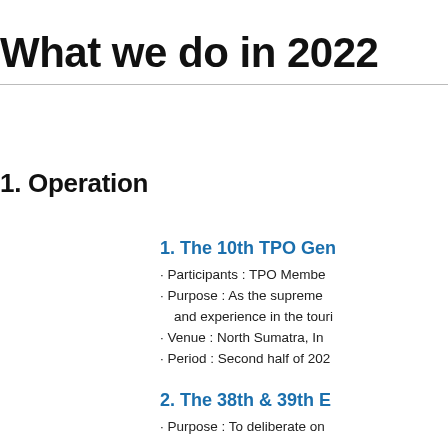What we do in 2022
1. Operation
1. The 10th TPO Gen
· Participants : TPO Membe
· Purpose : As the supreme and experience in the touri
· Venue : North Sumatra, In
· Period : Second half of 202
2. The 38th & 39th E
· Purpose : To deliberate on